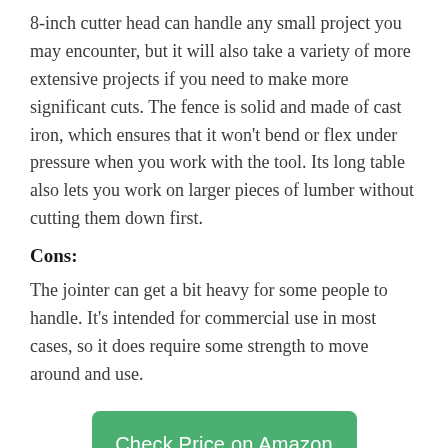8-inch cutter head can handle any small project you may encounter, but it will also take a variety of more extensive projects if you need to make more significant cuts. The fence is solid and made of cast iron, which ensures that it won't bend or flex under pressure when you work with the tool. Its long table also lets you work on larger pieces of lumber without cutting them down first.
Cons:
The jointer can get a bit heavy for some people to handle. It's intended for commercial use in most cases, so it does require some strength to move around and use.
Check Price on Amazon